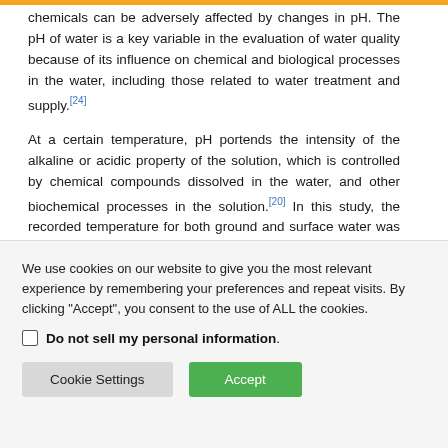chemicals can be adversely affected by changes in pH. The pH of water is a key variable in the evaluation of water quality because of its influence on chemical and biological processes in the water, including those related to water treatment and supply.[24]
At a certain temperature, pH portends the intensity of the alkaline or acidic property of the solution, which is controlled by chemical compounds dissolved in the water, and other biochemical processes in the solution.[20] In this study, the recorded temperature for both ground and surface water was within the recommended values for
We use cookies on our website to give you the most relevant experience by remembering your preferences and repeat visits. By clicking "Accept", you consent to the use of ALL the cookies.
Do not sell my personal information.
Cookie Settings
Accept